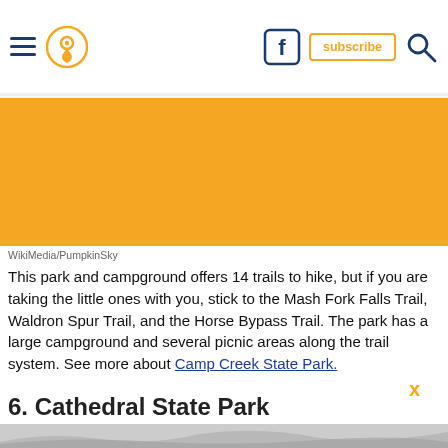Navigation header with hamburger menu, location pin icon, Facebook icon, subscribe button, and search icon
[Figure (photo): Orange/amber colored banner image area]
WikiMedia/PumpkinSky
This park and campground offers 14 trails to hike, but if you are taking the little ones with you, stick to the Mash Fork Falls Trail, Waldron Spur Trail, and the Horse Bypass Trail. The park has a large campground and several picnic areas along the trail system. See more about Camp Creek State Park.
6. Cathedral State Park
[Figure (photo): Partially visible forest/trees photo at bottom of page]